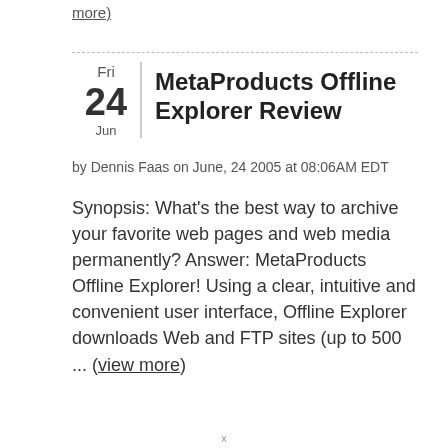more)
MetaProducts Offline Explorer Review
by Dennis Faas on June, 24 2005 at 08:06AM EDT
Synopsis: What's the best way to archive your favorite web pages and web media permanently? Answer: MetaProducts Offline Explorer! Using a clear, intuitive and convenient user interface, Offline Explorer downloads Web and FTP sites (up to 500 ... (view more)
x